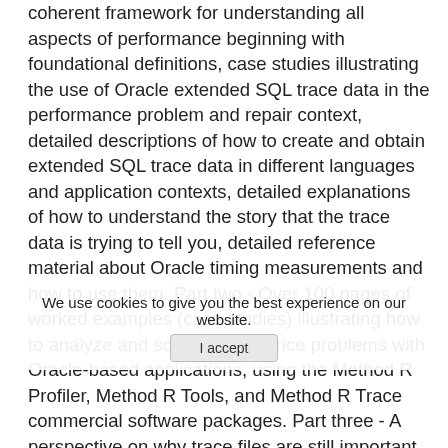coherent framework for understanding all aspects of performance beginning with foundational definitions, case studies illustrating the use of Oracle extended SQL trace data in the performance problem and repair context, detailed descriptions of how to create and obtain extended SQL trace data in different languages and application contexts, detailed explanations of how to understand the story that the trace data is trying to tell you, detailed reference material about Oracle timing measurements and how to use them. Part two - Over 100 pages of worked examples (case studies) illustrating how to analyze and solve performance problems with Oracle-based applications, using the Method R Profiler, Method R Tools, and Method R Trace commercial software packages. Part three - A perspective on why trace files are still important in this explanations by dozens of Oracle professionals about why they use trace data today.
We use cookies to give you the best experience on our website.
I accept